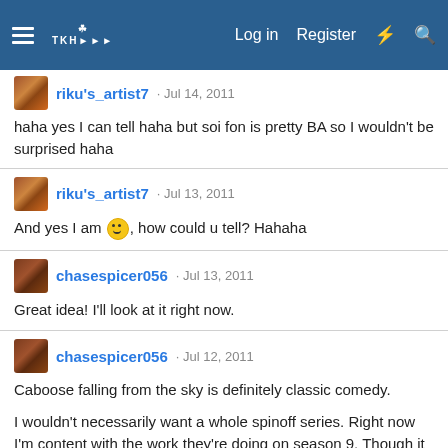Log in  Register
riku's_artist7 · Jul 14, 2011
haha yes I can tell haha but soi fon is pretty BA so I wouldn't be surprised haha
riku's_artist7 · Jul 13, 2011
And yes I am 🙂, how could u tell? Hahaha
chasespicer056 · Jul 13, 2011
Great idea! I'll look at it right now.
chasespicer056 · Jul 12, 2011
Caboose falling from the sky is definitely classic comedy.

I wouldn't necessarily want a whole spinoff series. Right now I'm content with the work they're doing on season 9. Though it DEFINITELY would be cool to see if they decided to do the